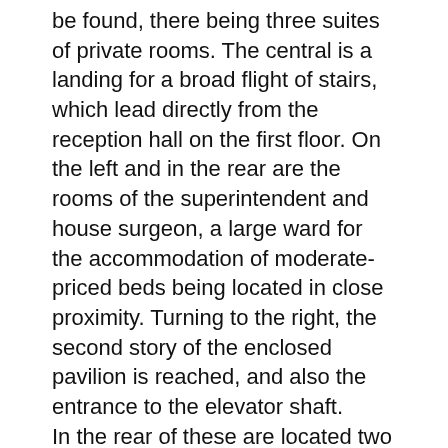be found, there being three suites of private rooms. The central is a landing for a broad flight of stairs, which lead directly from the reception hall on the first floor. On the left and in the rear are the rooms of the superintendent and house surgeon, a large ward for the accommodation of moderate-priced beds being located in close proximity. Turning to the right, the second story of the enclosed pavilion is reached, and also the entrance to the elevator shaft.
In the rear of these are located two large wards for the accommodation of male and female patients respectively.
Furthermost in the rear, and connected with the main building, is located the general sterilizing and main operating room.
The operating room, among other advantages, possesses a valuable northern and eastern light. The